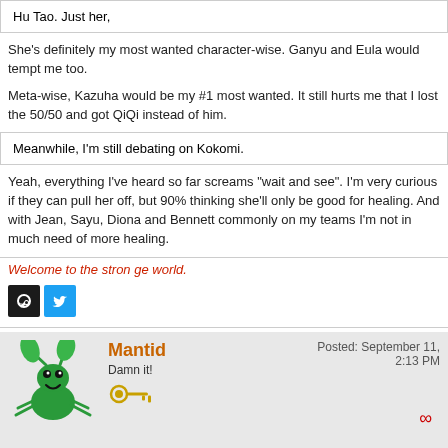Hu Tao. Just her,
She's definitely my most wanted character-wise. Ganyu and Eula would tempt me too.
Meta-wise, Kazuha would be my #1 most wanted. It still hurts me that I lost the 50/50 and got QiQi instead of him.
Meanwhile, I'm still debating on Kokomi.
Yeah, everything I've heard so far screams "wait and see". I'm very curious if they can pull her off, but 90% thinking she'll only be good for healing. And with Jean, Sayu, Diona and Bennett commonly on my teams I'm not in much need of more healing.
Welcome to the stron ge world.
Mantid
Damn it!
Posted: September 11, 2:13 PM
Tscott wrote: